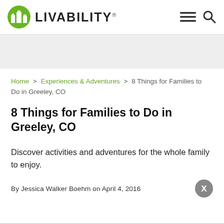LIVABILITY
[Figure (logo): Livability website header with green circular logo icon showing city buildings, the word LIVABILITY in bold, and hamburger menu and search icons on the right]
Home > Experiences & Adventures > 8 Things for Families to Do in Greeley, CO
8 Things for Families to Do in Greeley, CO
Discover activities and adventures for the whole family to enjoy.
By Jessica Walker Boehm on April 4, 2016